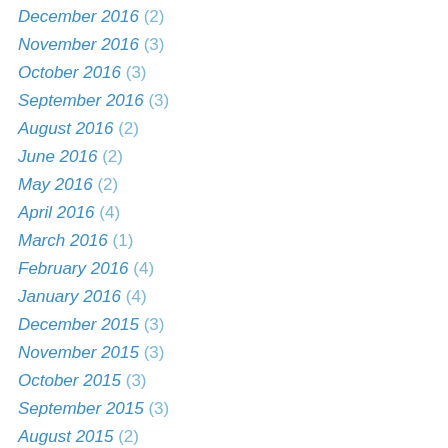December 2016 (2)
November 2016 (3)
October 2016 (3)
September 2016 (3)
August 2016 (2)
June 2016 (2)
May 2016 (2)
April 2016 (4)
March 2016 (1)
February 2016 (4)
January 2016 (4)
December 2015 (3)
November 2015 (3)
October 2015 (3)
September 2015 (3)
August 2015 (2)
July 2015 (2)
June 2015 (2)
May 2015 (3)
April 2015 (4)